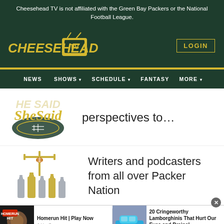Cheesehead TV is not affiliated with the Green Bay Packers or the National Football League.
[Figure (logo): Cheesehead TV logo with yellow stylized text and TV icon]
LOGIN
NEWS   SHOWS   SCHEDULE   FANTASY   MORE
[Figure (logo): SheSaid football show logo in yellow cursive script with green football graphic]
perspectives to…
[Figure (illustration): Football fieldgoal posts with trophy bottles illustration]
Writers and podcasters from all over Packer Nation
[Figure (photo): Homerun Hit ad with baseball image]
Homerun Hit | Play Now
Ad by Gameapp
[Figure (photo): Blue Lamborghini car photo]
20 Cringeworthy Lamborghinis That Hurt Our Eyes and Brains!
Ad by PittyMews